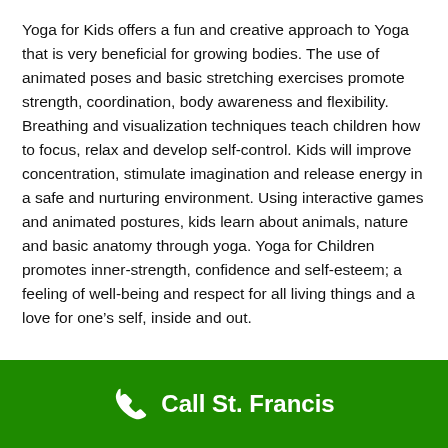Yoga for Kids offers a fun and creative approach to Yoga that is very beneficial for growing bodies. The use of animated poses and basic stretching exercises promote strength, coordination, body awareness and flexibility. Breathing and visualization techniques teach children how to focus, relax and develop self-control. Kids will improve concentration, stimulate imagination and release energy in a safe and nurturing environment. Using interactive games and animated postures, kids learn about animals, nature and basic anatomy through yoga. Yoga for Children promotes inner-strength, confidence and self-esteem; a feeling of well-being and respect for all living things and a love for one's self, inside and out.
Call St. Francis